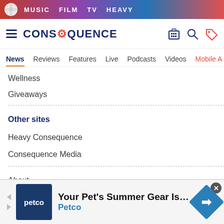MUSIC  FILM  TV  HEAVY
[Figure (logo): Consequence of Sound logo with hamburger menu and icons]
News  Reviews  Features  Live  Podcasts  Videos  Mobile A
Wellness
Giveaways
Other sites
Heavy Consequence
Consequence Media
About
[Figure (infographic): Petco advertisement banner: Your Pet's Summer Gear Is Here, Petco]